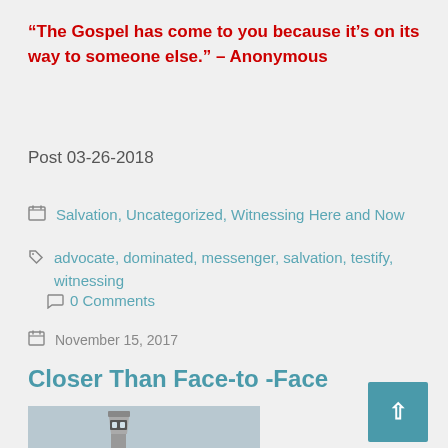“The Gospel has come to you because it’s on its way to someone else.” – Anonymous
Post 03-26-2018
Salvation, Uncategorized, Witnessing Here and Now
advocate, dominated, messenger, salvation, testify, witnessing    0 Comments
November 15, 2017
Closer Than Face-to -Face
[Figure (photo): Lighthouse photo at the bottom of the page]